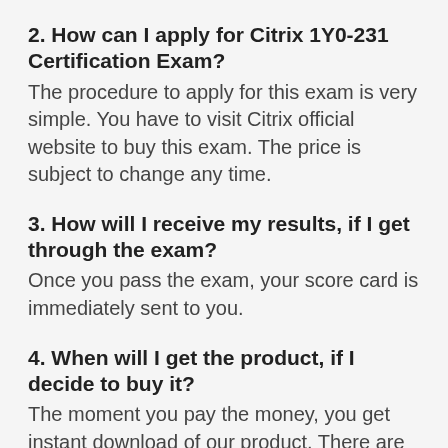2. How can I apply for Citrix 1Y0-231 Certification Exam?
The procedure to apply for this exam is very simple. You have to visit Citrix official website to buy this exam. The price is subject to change any time.
3. How will I receive my results, if I get through the exam?
Once you pass the exam, your score card is immediately sent to you.
4. When will I get the product, if I decide to buy it?
The moment you pay the money, you get instant download of our product. There are no delays and excuses at all. You can begin your studies from the very day you purchase our product.